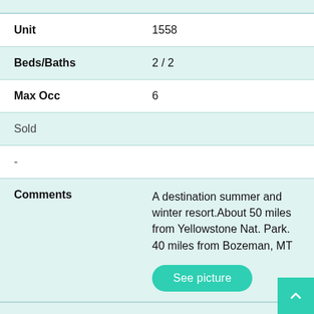| Field | Value |
| --- | --- |
| Unit | 1558 |
| Beds/Baths | 2 / 2 |
| Max Occ | 6 |
| Sold |  |
| - |  |
| Comments | A destination summer and winter resort.About 50 miles from Yellowstone Nat. Park. 40 miles from Bozeman, MT |